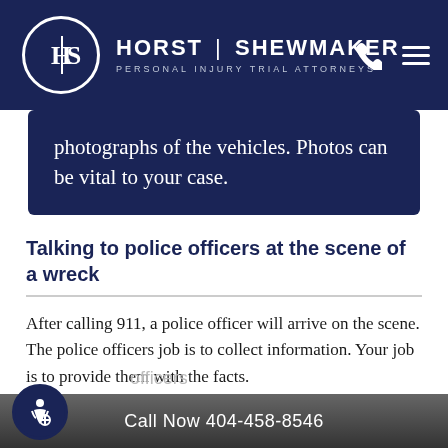[Figure (logo): Horst Shewmaker Personal Injury Trial Attorneys logo with circular HS monogram, phone icon and hamburger menu on dark navy header]
photographs of the vehicles. Photos can be vital to your case.
Talking to police officers at the scene of a wreck
After calling 911, a police officer will arrive on the scene. The police officers job is to collect information. Your job is to provide them with the facts.
Call Now 404-458-8546